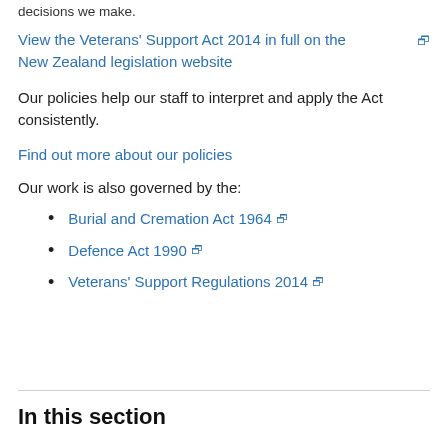decisions we make.
View the Veterans' Support Act 2014 in full on the New Zealand legislation website
Our policies help our staff to interpret and apply the Act consistently.
Find out more about our policies
Our work is also governed by the:
Burial and Cremation Act 1964
Defence Act 1990
Veterans' Support Regulations 2014
In this section